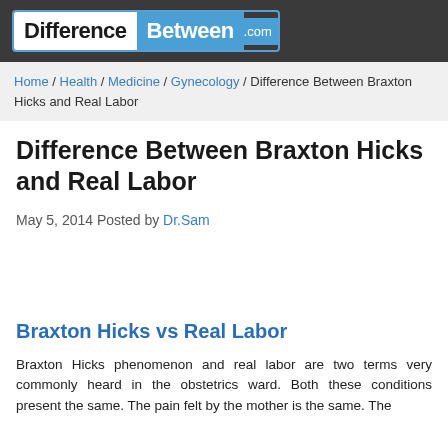[Figure (logo): DifferenceBetween.com logo — white 'Difference' on dark background, blue 'Between' box, '.com' in small text]
Home / Health / Medicine / Gynecology / Difference Between Braxton Hicks and Real Labor
Difference Between Braxton Hicks and Real Labor
May 5, 2014 Posted by Dr.Sam
Braxton Hicks vs Real Labor
Braxton Hicks phenomenon and real labor are two terms very commonly heard in the obstetrics ward. Both these conditions present the same. The pain felt by the mother is the same. The